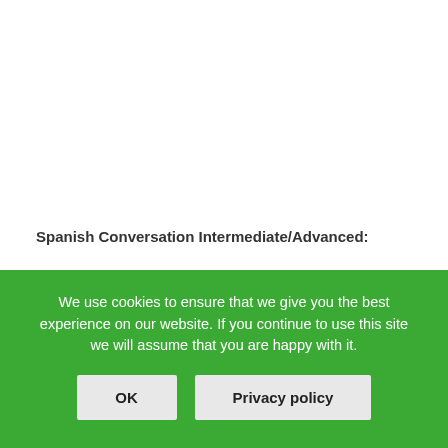Spanish Conversation Intermediate/Advanced:
Nov 5th Monday: 12:30-13:30pm Falmouth Sports Club (12-week course)
Nov 10th Saturday 10-11am at Arts Café, Truro (Royal
We use cookies to ensure that we give you the best experience on our website. If you continue to use this site we will assume that you are happy with it.
OK
Privacy policy